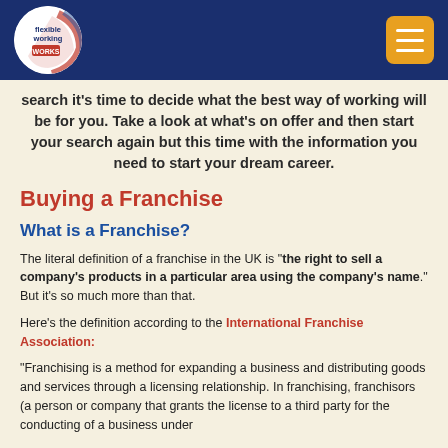flexible working works
search it's time to decide what the best way of working will be for you. Take a look at what's on offer and then start your search again but this time with the information you need to start your dream career.
Buying a Franchise
What is a Franchise?
The literal definition of a franchise in the UK is "the right to sell a company's products in a particular area using the company's name." But it's so much more than that.
Here's the definition according to the International Franchise Association:
"Franchising is a method for expanding a business and distributing goods and services through a licensing relationship. In franchising, franchisors (a person or company that grants the license to a third party for the conducting of a business under